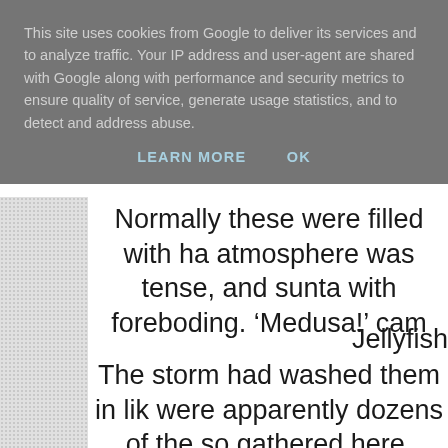This site uses cookies from Google to deliver its services and to analyze traffic. Your IP address and user-agent are shared with Google along with performance and security metrics to ensure quality of service, generate usage statistics, and to detect and address abuse.
LEARN MORE    OK
Normally these were filled with ha atmosphere was tense, and sunta with foreboding. ‘Medusa!’ cam
Jellyfish
The storm had washed them in lik were apparently dozens of the so gathered here, shading themselve raft.